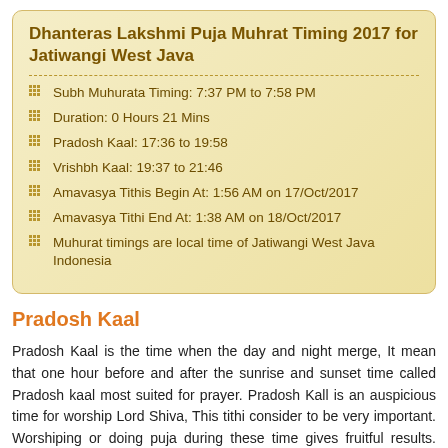Dhanteras Lakshmi Puja Muhrat Timing 2017 for Jatiwangi West Java
Subh Muhurata Timing: 7:37 PM to 7:58 PM
Duration: 0 Hours 21 Mins
Pradosh Kaal: 17:36 to 19:58
Vrishbh Kaal: 19:37 to 21:46
Amavasya Tithis Begin At: 1:56 AM on 17/Oct/2017
Amavasya Tithi End At: 1:38 AM on 18/Oct/2017
Muhurat timings are local time of Jatiwangi West Java Indonesia
Pradosh Kaal
Pradosh Kaal is the time when the day and night merge, It mean that one hour before and after the sunrise and sunset time called Pradosh kaal most suited for prayer. Pradosh Kall is an auspicious time for worship Lord Shiva, This tithi consider to be very important. Worshiping or doing puja during these time gives fruitful results. Pradosh kaal comes twice a month, on 13thdya of Sukla Paksha and Krishna Paksha.